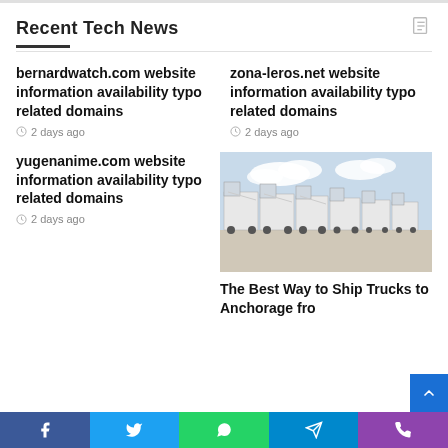Recent Tech News
bernardwatch.com website information availability typo related domains
2 days ago
zona-leros.net website information availability typo related domains
2 days ago
yugenanime.com website information availability typo related domains
2 days ago
[Figure (photo): A row of large white car-carrier trucks parked in a lot under a partly cloudy sky]
The Best Way to Ship Trucks to Anchorage fro